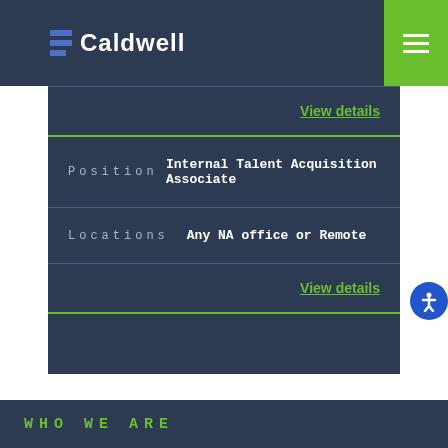Caldwell
View details
Position    Internal Talent Acquisition Associate
Locations    Any NA office or Remote
View details
WHO WE ARE